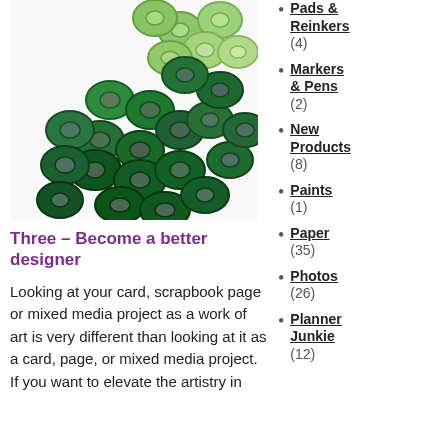[Figure (photo): A scattered group of green ring-shaped eyelets/beads in various shades of green, from light to dark, on a white background.]
Three – Become a better designer
Looking at your card, scrapbook page or mixed media project as a work of art is very different than looking at it as a card, page, or mixed media project. If you want to elevate the artistry in
Pads & Reinkers (4)
Markers & Pens (2)
New Products (8)
Paints (1)
Paper (35)
Photos (26)
Planner Junkie (12)